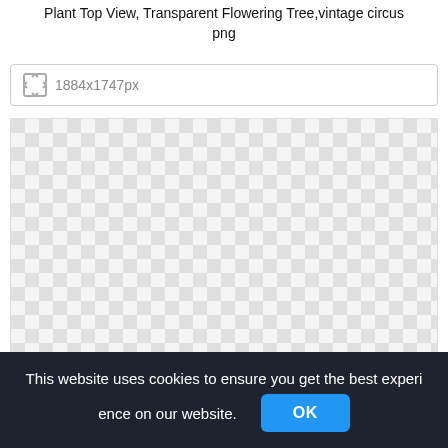Plant Top View, Transparent Flowering Tree,vintage circus png
1884x1747px
[Figure (other): Transparent PNG preview area showing a checkerboard pattern indicating transparency, with no visible image content.]
This website uses cookies to ensure you get the best experience on our website.